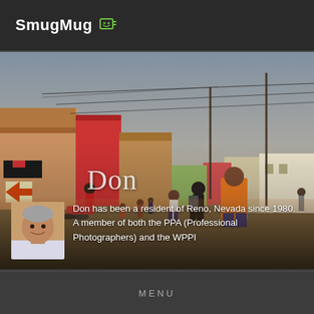SmugMug
[Figure (photo): Street scene in an African town with colorful buildings, people walking, motorcycles, utility poles with wires, warm golden hour lighting. A man in an orange shirt is visible in the foreground.]
Don
Don has been a resident of Reno, Nevada since 1980. A member of both the PPA (Professional Photographers) and the WPPI
MENU